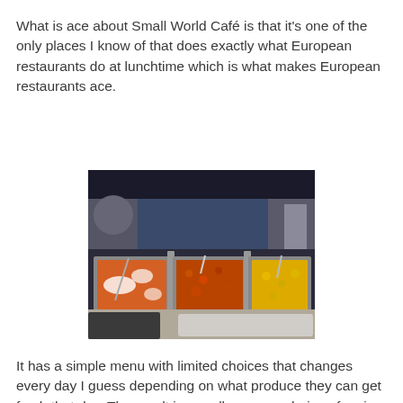What is ace about Small World Café is that it's one of the only places I know of that does exactly what European restaurants do at lunchtime which is what makes European restaurants ace.
[Figure (photo): A food service counter with three large metal warming trays filled with hot dishes: a white and red dish (possibly a baked dish with cheese), a red/orange rice or meat dish in the center, and a yellow curry or rice dish on the right. Serving utensils are visible in each tray. A person's hand is visible at the bottom left, and there is a dark overhead warming unit above the trays.]
It has a simple menu with limited choices that changes every day I guess depending on what produce they can get fresh that day. The result is a really yummy choice of main meals - always including a veggie option which is usually an amazing combination of ill-gotten vegetables. The ration